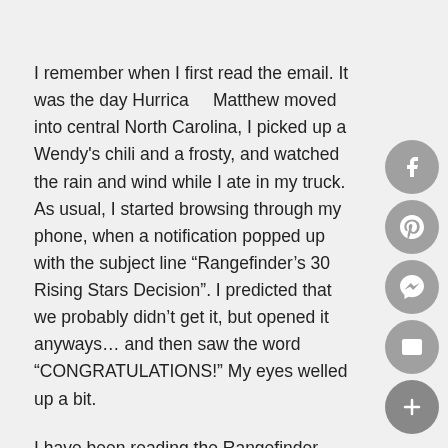I remember when I first read the email. It was the day Hurricane Matthew moved into central North Carolina, I picked up a Wendy's chili and a frosty, and watched the rain and wind while I ate in my truck. As usual, I started browsing through my phone, when a notification popped up with the subject line “Rangefinder’s 30 Rising Stars Decision”. I predicted that we probably didn’t get it, but opened it anyways… and then saw the word “CONGRATULATIONS!” My eyes welled up a bit.
I have been reading the Rangefinder Magazine ever since I first got into photography. It’s full of wonderful inspiration and tips from all genres. To be among the pages of this magazine alongside so many other photographers I admire feels absolutely unreal. In order to receive this award, someone in the industry has to nominate
[Figure (other): Social media share buttons: Facebook, Pinterest, Messenger, Email, and a plus/expand button arranged vertically on the right side of the page]